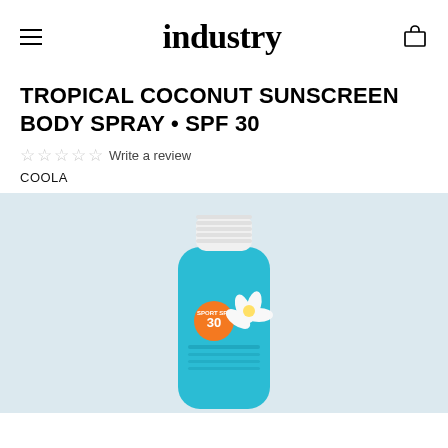industry
TROPICAL COCONUT SUNSCREEN BODY SPRAY • SPF 30
☆ ☆ ☆ ☆ ☆ Write a review
COOLA
[Figure (photo): A teal/turquoise aerosol spray bottle of COOLA Tropical Coconut Sunscreen Body Spray SPF 30 with a white flower graphic on the label and a ridged white cap, photographed against a light grey/blue background.]